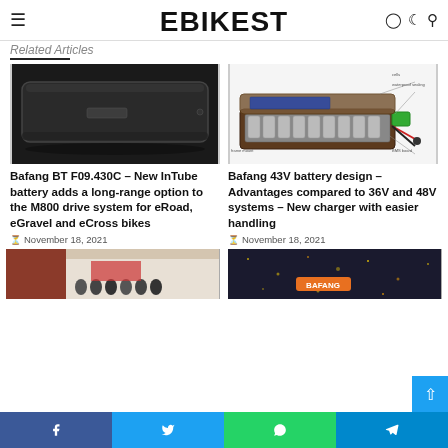EBIKEST
Related Articles
[Figure (photo): Bafang BT F09.430C InTube battery – dark black elongated rectangular ebike battery pack]
[Figure (engineering-diagram): Bafang 43V battery design exploded diagram showing cells arrangement, waterproof sealing, BMS board and components]
Bafang BT F09.430C – New InTube battery adds a long-range option to the M800 drive system for eRoad, eGravel and eCross bikes
November 18, 2021
Bafang 43V battery design – Advantages compared to 36V and 48V systems – New charger with easier handling
November 18, 2021
[Figure (photo): Group of people standing in front of a building – article thumbnail image]
[Figure (photo): Dark textured surface with orange Bafang logo – article thumbnail image]